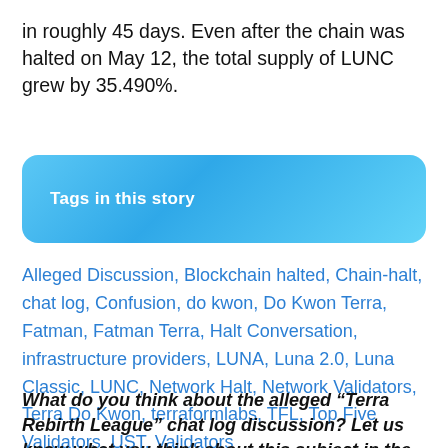in roughly 45 days. Even after the chain was halted on May 12, the total supply of LUNC grew by 35.490%.
Tags in this story
Alleged Discussion, Blockchain halted, Chain-halt, chat log, Confusion, do kwon, Do Kwon Terra, Fatman, Fatman Terra, Halt Conversation, infrastructure providers, LUNA, Luna 2.0, Luna Classic, LUNC, Network Halt, Network Validators, Terra Do Kwon, terraformlabs, TFL, Top Five Validators, UST, Validators
What do you think about the alleged “Terra Rebirth League” chat log discussion? Let us know what you think about this subject in the comments section below.